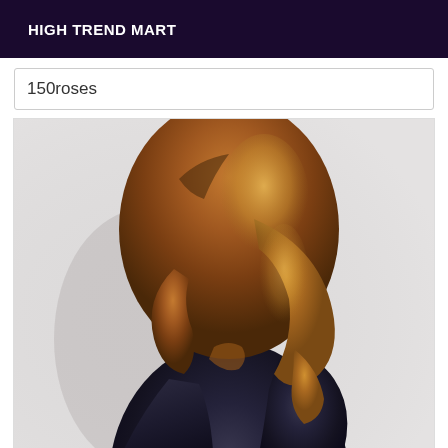HIGH TREND MART
150roses
[Figure (photo): A person seen from behind, wearing a dark navy/black long-sleeve top, with long wavy reddish-blonde ombre hair, standing against a white wall.]